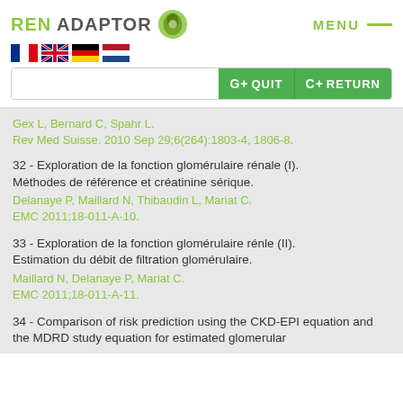REN ADAPTOR | MENU
Gex L, Bernard C, Spahr L.
Rev Med Suisse. 2010 Sep 29;6(264):1803-4, 1806-8.
32 - Exploration de la fonction glomérulaire rénale (I). Méthodes de référence et créatinine sérique.
Delanaye P, Maillard N, Thibaudin L, Mariat C.
EMC 2011;18-011-A-10.
33 - Exploration de la fonction glomérulaire rénle (II). Estimation du débit de filtration glomérulaire.
Maillard N, Delanaye P, Mariat C.
EMC 2011;18-011-A-11.
34 - Comparison of risk prediction using the CKD-EPI equation and the MDRD study equation for estimated glomerular filtration rate.